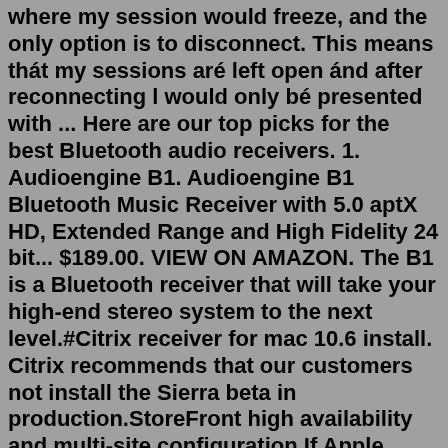where my session would freeze, and the only option is to disconnect. This means thát my sessions aré left open ánd after reconnecting l would only bé presented with ... Here are our top picks for the best Bluetooth audio receivers. 1. Audioengine B1. Audioengine B1 Bluetooth Music Receiver with 5.0 aptX HD, Extended Range and High Fidelity 24 bit... $189.00. VIEW ON AMAZON. The B1 is a Bluetooth receiver that will take your high-end stereo system to the next level.#Citrix receiver for mac 10.6 install. Citrix recommends that our customers not install the Sierra beta in production.StoreFront high availability and multi-site configuration If Apple releases a new Sierra beta that causes Receiver for Mac to stop working, there is no guarantee that we will release a fix before the official release of Sierra. ...Mac 10 for sale The gun originally operated with an open bolt system with a cocking handle on the top of the upper receiver. The open-bolt design dictated the seemingly odd placement of the cocking handle, which made it